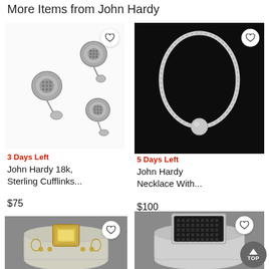More Items from John Hardy
[Figure (photo): Silver cufflinks - John Hardy 18k, Sterling Cufflinks, multiple pieces shown on white background]
[Figure (photo): John Hardy silver necklace with spherical pendant on black background]
3 Days Left
John Hardy 18k, Sterling Cufflinks...
$75
5 Days Left
John Hardy Necklace With...
$100
[Figure (photo): John Hardy ring with yellow gemstone square center on silver band with decorative gold details, gray background]
[Figure (photo): John Hardy silver ring with black pavé square top, gray background]